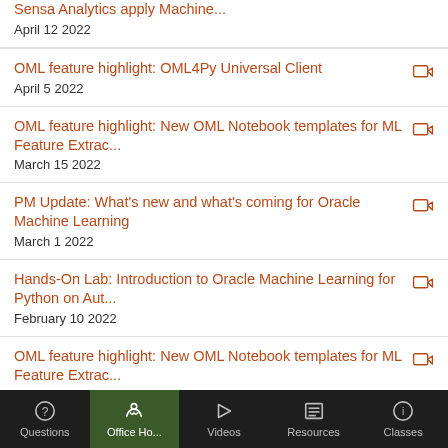Sensa Analytics apply Machine...
April 12 2022
OML feature highlight: OML4Py Universal Client
April 5 2022
OML feature highlight: New OML Notebook templates for ML Feature Extrac...
March 15 2022
PM Update: What's new and what's coming for Oracle Machine Learning
March 1 2022
Hands-On Lab: Introduction to Oracle Machine Learning for Python on Aut...
February 10 2022
OML feature highlight: New OML Notebook templates for ML Feature Extrac...
January 18 2022
Questions | Office Ho... | Videos | Resources | Classes